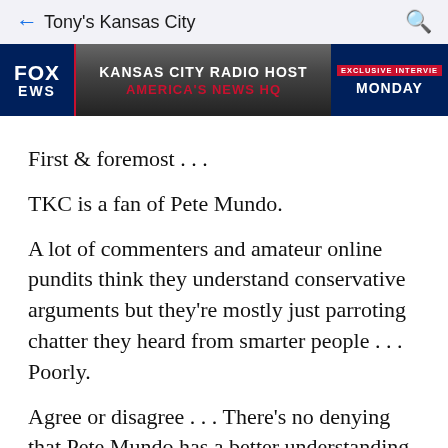← Tony's Kansas City 🔍
[Figure (screenshot): Fox News banner showing 'KANSAS CITY RADIO HOST' and 'AMERICA'S NEWS HQ' with 'EXCLUSIVE INTERVIEW MONDAY' on the right side]
First & foremost . . .
TKC is a fan of Pete Mundo.
A lot of commenters and amateur online pundits think they understand conservative arguments but they're mostly just parroting chatter they heard from smarter people . . . Poorly.
Agree or disagree . . . There's no denying that Pete Mundo has a better understanding of present day conservatism than any other local talker.